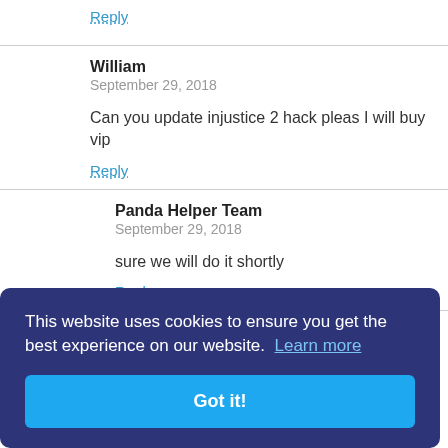Reply
William
September 29, 2018

Can you update injustice 2 hack pleas I will buy vip
Reply
Panda Helper Team
September 29, 2018

sure we will do it shortly
Reply
This website uses cookies to ensure you get the best experience on our website. Learn more
Got it!
Panda Helper Team